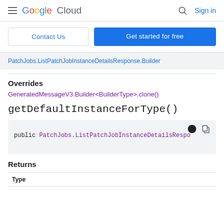Google Cloud | Sign in
Contact Us | Get started for free
PatchJobs.ListPatchJobInstanceDetailsResponse.Builder
Overrides
GeneratedMessageV3.Builder<BuilderType>.clone()
getDefaultInstanceForType()
public PatchJobs.ListPatchJobInstanceDetailsRespo
Returns
| Type |
| --- |